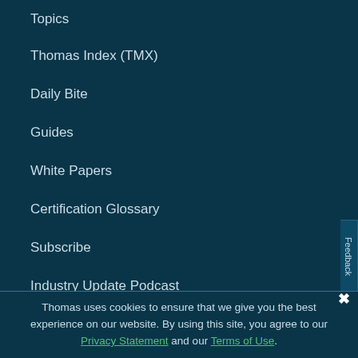Topics
Thomas Index (TMX)
Daily Bite
Guides
White Papers
Certification Glossary
Subscribe
Industry Update Podcast
For Business
Advertise
Content & Data Services
Thomas uses cookies to ensure that we give you the best experience on our website. By using this site, you agree to our Privacy Statement and our Terms of Use.